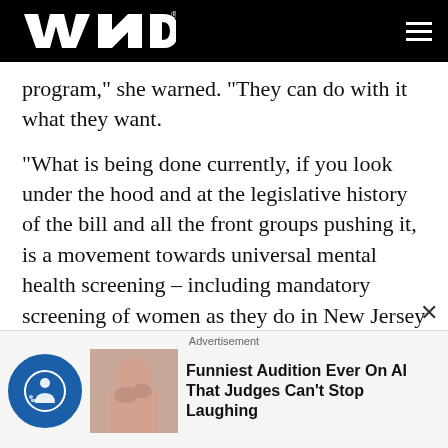WND
program," she warned. "They can do with it what they want.
"What is being done currently, if you look under the hood and at the legislative history of the bill and all the front groups pushing it, is a movement towards universal mental health screening – including mandatory screening of women as they do in New Jersey – and preventive drugging during pregnancy or postpartum," she said.
Advertisement
Funniest Audition Ever On AI That Judges Can't Stop Laughing